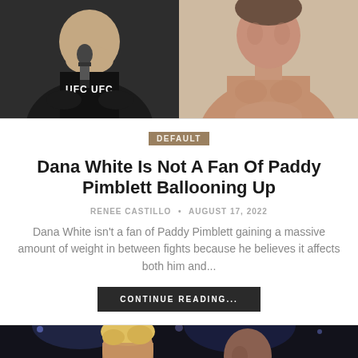[Figure (photo): Two-panel image: left shows Dana White in dark shirt holding a UFC microphone with UFC branding visible; right shows Paddy Pimblett shirtless from chest up with light background.]
DEFAULT
Dana White Is Not A Fan Of Paddy Pimblett Ballooning Up
RENEE CASTILLO • AUGUST 17, 2022
Dana White isn't a fan of Paddy Pimblett gaining a massive amount of weight in between fights because he believes it affects both him and...
CONTINUE READING...
[Figure (photo): Two UFC fighters shown from the shoulders up against a dark arena background — left figure has blonde hair, right figure is darker.]